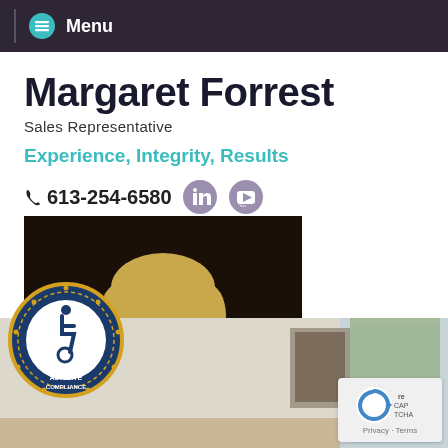Menu
Margaret Forrest
Sales Representative
Experience, Integrity, Results
613-254-6580
[Figure (photo): Professional headshot of Margaret Forrest, a woman with short blonde hair wearing a grey blazer, smiling with arms crossed against a dark background]
[Figure (logo): ADA Site Compliance badge - circular badge with blue and gold colors showing wheelchair accessibility symbol]
[Figure (logo): Google reCAPTCHA badge showing reCAPTCHA logo with Privacy and Terms text]